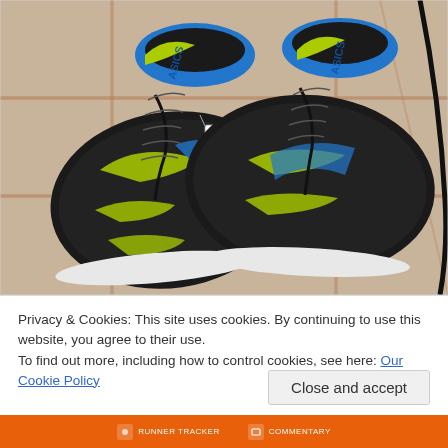[Figure (photo): Two black ASICS running shoes with yellow-green and blue accents, placed on a beige ceramic tile floor. A small white price tag is visible on the left shoe. The shoes are photographed from above.]
Privacy & Cookies: This site uses cookies. By continuing to use this website, you agree to their use.
To find out more, including how to control cookies, see here: Our Cookie Policy
Close and accept